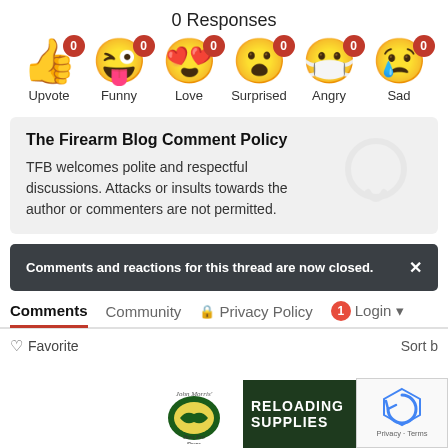0 Responses
[Figure (infographic): Six emoji reaction buttons each showing a count badge of 0: Upvote (thumbs up), Funny (laughing tongue out), Love (heart eyes), Surprised (wow face), Angry (mask/sick face), Sad (crying face)]
The Firearm Blog Comment Policy
TFB welcomes polite and respectful discussions. Attacks or insults towards the author or commenters are not permitted.
Comments and reactions for this thread are now closed.
Comments  Community  Privacy Policy  1  Login
Favorite  Sort b
[Figure (infographic): Bass Pro Shops advertisement banner for Reloading Supplies with Shop Now button]